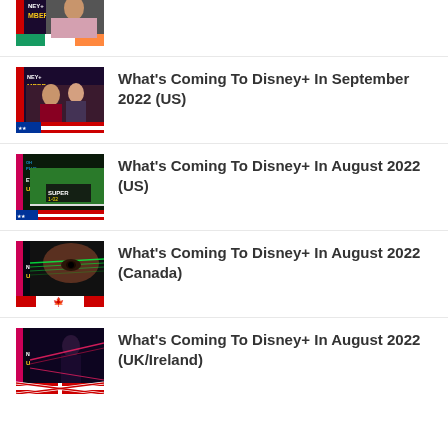[Figure (photo): Partial thumbnail for What's Coming To Disney+ article]
What's Coming To Disney+ In September 2022 (US)
[Figure (photo): Disney+ September 2022 US thumbnail with US flag and two women]
What's Coming To Disney+ In September 2022 (US)
[Figure (photo): Disney+ August 2022 US thumbnail with sports broadcast]
What's Coming To Disney+ In August 2022 (US)
[Figure (photo): Disney+ August 2022 Canada thumbnail with close-up of eye and green light]
What's Coming To Disney+ In August 2022 (Canada)
[Figure (photo): Disney+ August 2022 UK/Ireland thumbnail with dark background and lasers]
What's Coming To Disney+ In August 2022 (UK/Ireland)